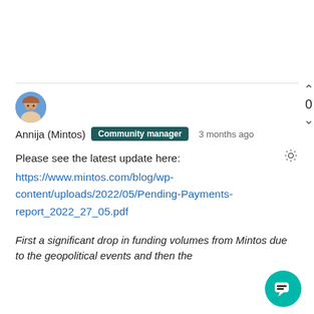[Figure (photo): User avatar photo of Annija (Mintos), a woman with blonde hair, circular profile picture]
Annija (Mintos) Community manager 3 months ago 0
Please see the latest update here: https://www.mintos.com/blog/wp-content/uploads/2022/05/Pending-Payments-report_2022_27_05.pdf
First a significant drop in funding volumes from Mintos due to the geopolitical events and then the